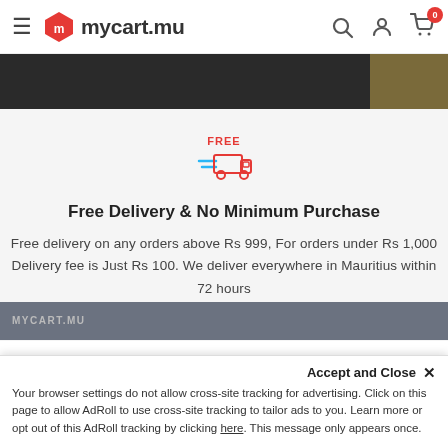mycart.mu
[Figure (screenshot): Banner image strip showing a dark product photo on left and a golden/brown image on right]
[Figure (illustration): Free delivery truck icon with 'FREE' text in red and blue speed lines]
Free Delivery & No Minimum Purchase
Free delivery on any orders above Rs 999, For orders under Rs 1,000 Delivery fee is Just Rs 100. We deliver everywhere in Mauritius within 72 hours
Cookie notice: Your browser settings do not allow cross-site tracking for advertising. Click on this page to allow AdRoll to use cross-site tracking to tailor ads to you. Learn more or opt out of this AdRoll tracking by clicking here. This message only appears once.